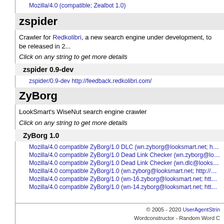Mozilla/4.0 (compatible; Zealbot 1.0)
zspider
Crawler for Redkolibri, a new search engine under development, to be released in 2...
Click on any string to get more details
zspider 0.9-dev
zspider/0.9-dev http://feedback.redkolibri.com/
ZyBorg
LookSmart's WiseNut search engine crawler
Click on any string to get more details
ZyBorg 1.0
Mozilla/4.0 compatible ZyBorg/1.0 DLC (wn.zyborg@looksmart.net; http://www.WIS...
Mozilla/4.0 compatible ZyBorg/1.0 Dead Link Checker (wn.zyborg@looksmart.net; h...
Mozilla/4.0 compatible ZyBorg/1.0 Dead Link Checker (wn.dlc@looksmart.net; http...
Mozilla/4.0 compatible ZyBorg/1.0 (wn.zyborg@looksmart.net; http://www.WISEnut...
Mozilla/4.0 compatible ZyBorg/1.0 (wn-16.zyborg@looksmart.net; http://www.WISE...
Mozilla/4.0 compatible ZyBorg/1.0 (wn-14.zyborg@looksmart.net; http://www.WISE...
© 2005 - 2020 UserAgentString... Wordconstructor - Random Word C...